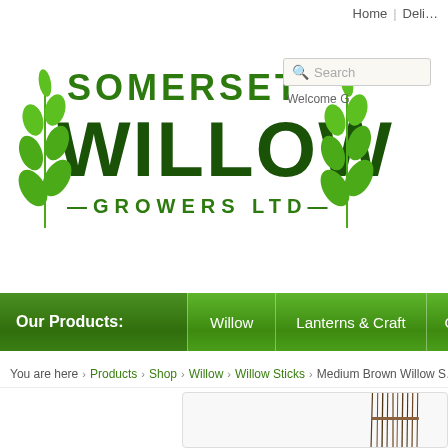Home | Deli...
[Figure (logo): Somerset Willow Growers Ltd logo with green leaf decorations and dark green text]
[Figure (screenshot): Search box with Q icon and placeholder text 'Search', with 'Welcome G' text below]
[Figure (screenshot): Green navigation bar with 'Our Products:' label, Willow, Lanterns & Craft, Cane & Ratta... menu items]
You are here > Products > Shop > Willow > Willow Sticks > Medium Brown Willow S...
[Figure (photo): Bundle of brown willow sticks/branches tied together, shown against a white/light background in a rounded rectangle panel]